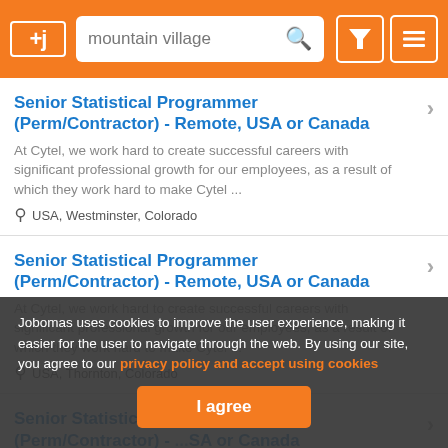+j mountain village [search] [filter] [menu]
Senior Statistical Programmer (Perm/Contractor) - Remote, USA or Canada
At Cytel, we work hard to create successful careers with significant professional growth for our employees, as a result of which they work hard to make Cytel ...
USA, Westminster, Colorado
Senior Statistical Programmer (Perm/Contractor) - Remote, USA or Canada
At Cytel, we work hard to create successful careers with significant professional growth for our employees, as a result of which they work hard to make Cytel ...
USA, Thornton, Colorado
Senior Statistical Programmer (Perm/Contractor) - Remote, USA or Canada
At Cytel, we work hard to create successful careers with significant professional growth for our employees, as a result of which they work hard to make Cytel ...
Jobomas uses cookies to improve the user experience, making it easier for the user to navigate through the web. By using our site, you agree to our privacy policy and accept using cookies
I agree